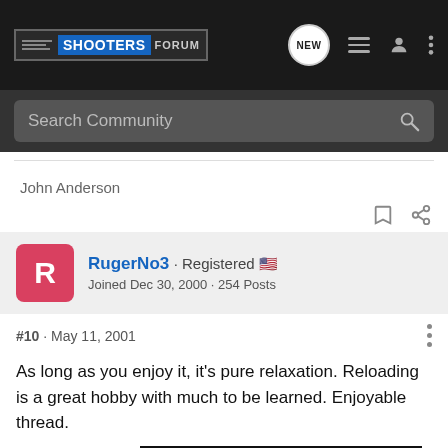SHOOTERS FORUM
Search Community
John Anderson
RugerNo3 · Registered
Joined Dec 30, 2000 · 254 Posts
#10 · May 11, 2001
As long as you enjoy it, it's pure relaxation. Reloading is a great hobby with much to be learned. Enjoyable thread.
[Figure (photo): Springfield Armory SAINT rifle advertisement banner. Text reads: SPRINGFIELD ARMORY SAINT MSRP STARTING AT $943.00 LEARN MORE]